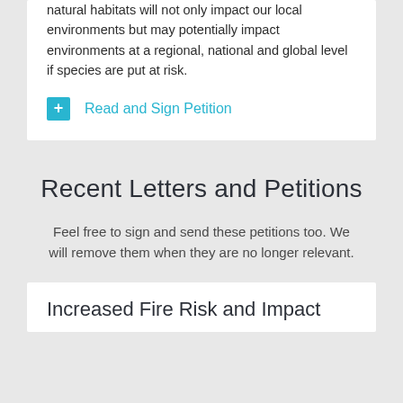natural habitats will not only impact our local environments but may potentially impact environments at a regional, national and global level if species are put at risk.
+ Read and Sign Petition
Recent Letters and Petitions
Feel free to sign and send these petitions too. We will remove them when they are no longer relevant.
Increased Fire Risk and Impact